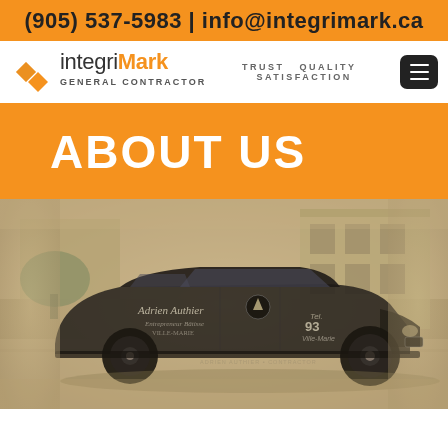(905) 537-5983 | info@integrimark.ca
[Figure (logo): IntegriMark General Contractor logo with orange chevron icon, company name and General Contractor subtitle, tagline TRUST QUALITY SATISFACTION, and dark hamburger menu button]
ABOUT US
[Figure (photo): Vintage black and white sepia-toned photograph of an old delivery van/station wagon with 'Adrien Authier' written on the side, parked in front of a building]